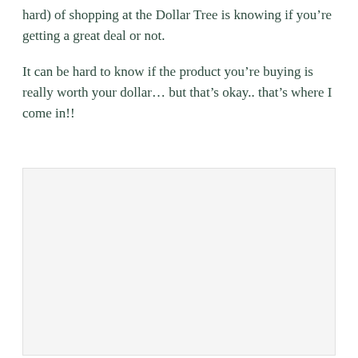hard) of shopping at the Dollar Tree is knowing if you’re getting a great deal or not.
It can be hard to know if the product you’re buying is really worth your dollar… but that’s okay.. that’s where I come in!!
[Figure (photo): A large light gray rectangular placeholder image area]